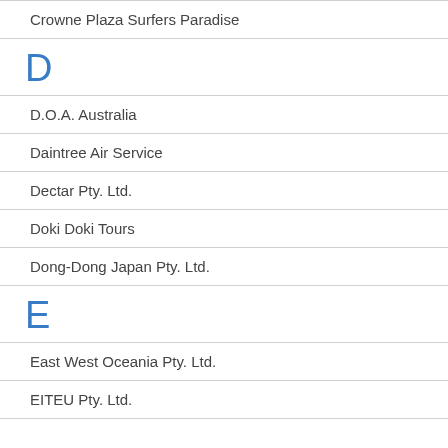Crowne Plaza Surfers Paradise
D
D.O.A. Australia
Daintree Air Service
Dectar Pty. Ltd.
Doki Doki Tours
Dong-Dong Japan Pty. Ltd.
E
East West Oceania Pty. Ltd.
EITEU Pty. Ltd.